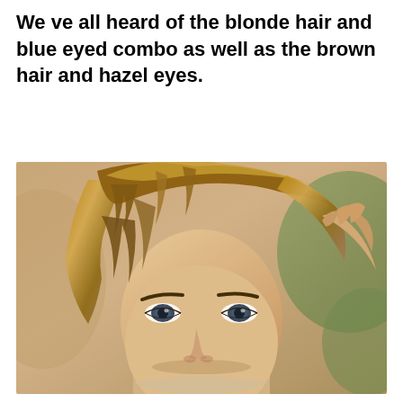We ve all heard of the blonde hair and blue eyed combo as well as the brown hair and hazel eyes.
[Figure (photo): Close-up portrait photo of a young male with wavy blonde-brown hair, blue eyes, and fair skin, holding his hand to the side of his head. The background is softly blurred with warm tones.]